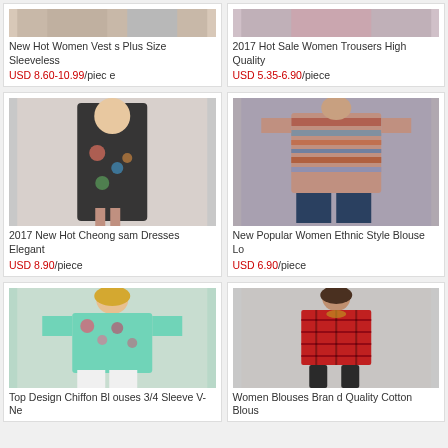[Figure (photo): Partial product card top - New Hot Women Vests Plus Size Sleeveless, USD 8.60-10.99/piece]
[Figure (photo): Partial product card top - 2017 Hot Sale Women Trousers High Quality, USD 5.35-6.90/piece]
[Figure (photo): 2017 New Hot Cheongsam Dresses Elegant, USD 8.90/piece - floral black dress]
[Figure (photo): New Popular Women Ethnic Style Blouse Lo, USD 6.90/piece - striped top]
[Figure (photo): Top Design Chiffon Blouses 3/4 Sleeve V-Ne - floral chiffon blouse]
[Figure (photo): Women Blouses Brand Quality Cotton Blous - red plaid dress]